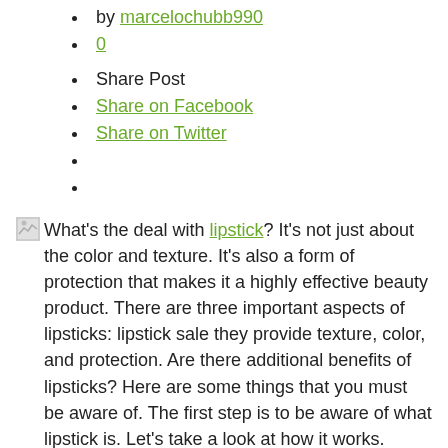by marcelochubb990
0
Share Post
Share on Facebook
Share on Twitter
What's the deal with lipstick? It's not just about the color and texture. It's also a form of protection that makes it a highly effective beauty product. There are three important aspects of lipsticks: lipstick sale they provide texture, color, and protection. Are there additional benefits of lipsticks? Here are some things that you must be aware of. The first step is to be aware of what lipstick is. Let's take a look at how it works.
The first component of a lipstick is the Emollient. Emollients are a key element in the smoothness of lipsticks. They aid in spreading evenly and stop feathering. There are many kinds of emollients. The most commonly used ones include beeswax, carnauba, and the ozokerite